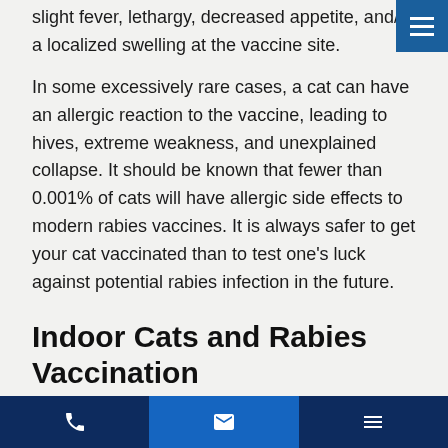slight fever, lethargy, decreased appetite, and/or a localized swelling at the vaccine site.
In some excessively rare cases, a cat can have an allergic reaction to the vaccine, leading to hives, extreme weakness, and unexplained collapse. It should be known that fewer than 0.001% of cats will have allergic side effects to modern rabies vaccines. It is always safer to get your cat vaccinated than to test one's luck against potential rabies infection in the future.
Indoor Cats and Rabies Vaccination
Cat owners might believe vaccination against rabies is unnecessary if their cat is an indoor cat, but this is not the case. While it might be true that you don't allow your cat outside your home, the potential for escape--or worse, for an infected bat to make it indoors--makes the vaccination a must.
Phone | Email | Menu